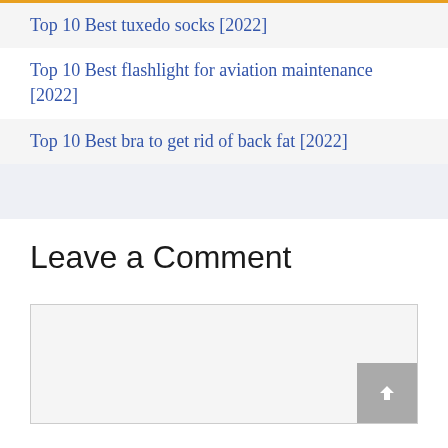Top 10 Best tuxedo socks [2022]
Top 10 Best flashlight for aviation maintenance [2022]
Top 10 Best bra to get rid of back fat [2022]
Leave a Comment